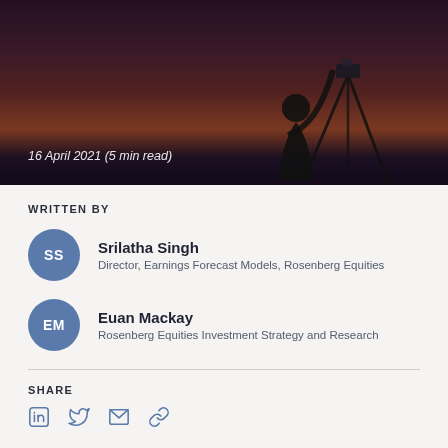[Figure (photo): Dark silhouette of a person crouching near a camera on a tripod, against a dramatic sunset sky with deep purples, oranges, and reds. Text overlay reads: 16 April 2021 (5 min read)]
16 April 2021 (5 min read)
WRITTEN BY
Srilatha Singh
Director, Earnings Forecast Models, Rosenberg Equities
Euan Mackay
Rosenberg Equities Investment Strategy and Research
SHARE